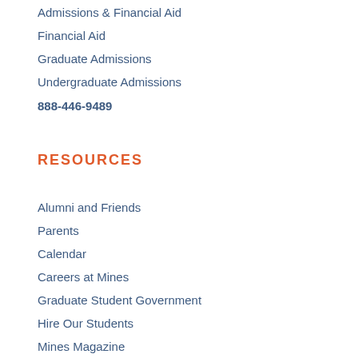Admissions & Financial Aid
Financial Aid
Graduate Admissions
Undergraduate Admissions
888-446-9489
RESOURCES
Alumni and Friends
Parents
Calendar
Careers at Mines
Graduate Student Government
Hire Our Students
Mines Magazine
Neighbors
News
Undergraduate Student Government